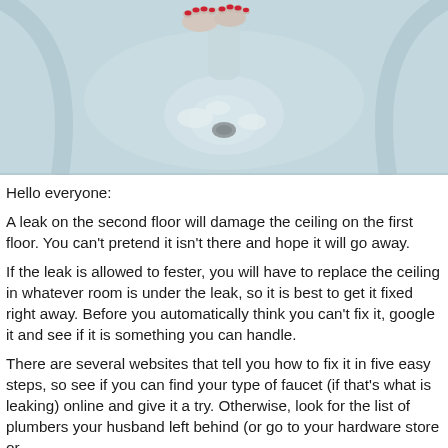[Figure (photo): Top-down view of a bathtub or sink with water and a drain visible, with feet with red nail polish visible at the top]
Hello everyone:
A leak on the second floor will damage the ceiling on the first floor. You can't pretend it isn't there and hope it will go away.
If the leak is allowed to fester, you will have to replace the ceiling in whatever room is under the leak, so it is best to get it fixed right away. Before you automatically think you can't fix it, google it and see if it is something you can handle.
There are several websites that tell you how to fix it in five easy steps, so see if you can find your type of faucet (if that's what is leaking) online and give it a try. Otherwise, look for the list of plumbers your husband left behind (or go to your hardware store or home center to get a referral for a licensed plumber) and get